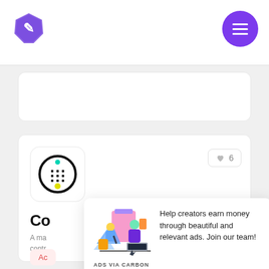[Figure (logo): Purple hexagon badge logo with pencil/edit icon]
[Figure (illustration): Purple circle button with three horizontal white lines (hamburger menu)]
[Figure (screenshot): Empty white card with rounded corners]
[Figure (screenshot): App listing card with circular app icon (black circle with grid), like button showing heart and 6]
Co
A ma... contr...
Ac
[Figure (infographic): Carbon ads overlay card with illustration of two people working at a desk with phone pink background, text: Help creators earn money through beautiful and relevant ads. Join our team! ADS VIA CARBON]